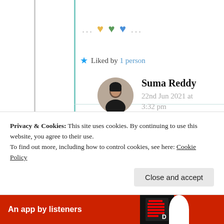... 💛💚💙 ...
★ Liked by 1 person
Suma Reddy
22nd Jun 2021 at 3:32 pm
[Figure (photo): Circular avatar photo of Suma Reddy]
You are always kind,
Privacy & Cookies: This site uses cookies. By continuing to use this website, you agree to their use. To find out more, including how to control cookies, see here: Cookie Policy
Close and accept
An app by listeners